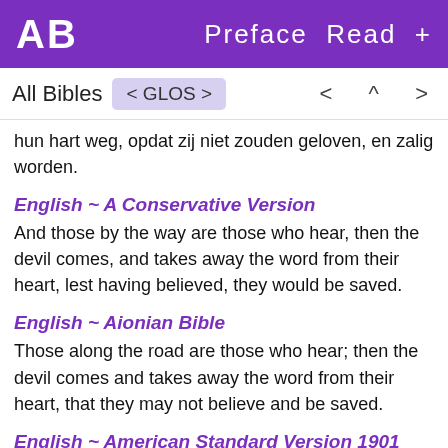AB   Preface  Read  +
All Bibles  < GLOS >    <  ^  >
hun hart weg, opdat zij niet zouden geloven, en zalig worden.
English ~ A Conservative Version
And those by the way are those who hear, then the devil comes, and takes away the word from their heart, lest having believed, they would be saved.
English ~ Aionian Bible
Those along the road are those who hear; then the devil comes and takes away the word from their heart, that they may not believe and be saved.
English ~ American Standard Version 1901
And those by the way side are they that have heard; then cometh the devil, and taketh away the word from